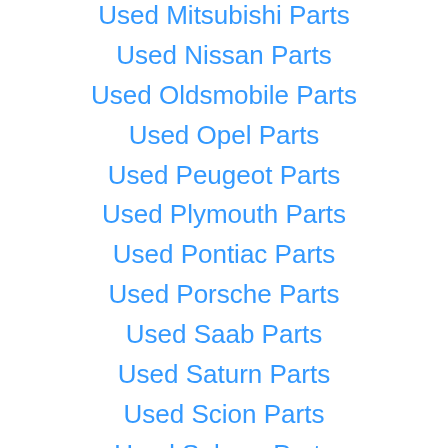Used Mitsubishi Parts
Used Nissan Parts
Used Oldsmobile Parts
Used Opel Parts
Used Peugeot Parts
Used Plymouth Parts
Used Pontiac Parts
Used Porsche Parts
Used Saab Parts
Used Saturn Parts
Used Scion Parts
Used Subaru Parts
Used Suzuki Parts